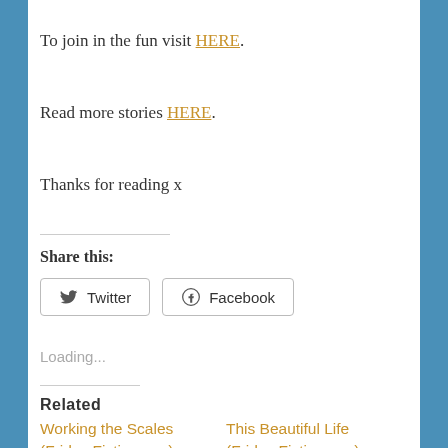To join in the fun visit HERE.
Read more stories HERE.
Thanks for reading x
Share this:
Twitter  Facebook
Loading...
Related
Working the Scales (Friday Fictioneers)
This Beautiful Life (Friday Fictioneers)